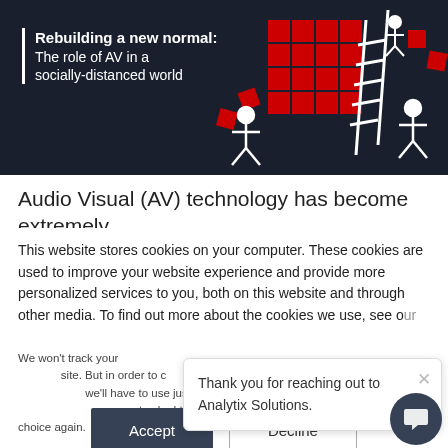[Figure (illustration): Hero banner with dark navy background showing white stick figures building a red block grid structure with a ladder. Text overlay reads 'Rebuilding a new normal: The role of AV in a socially-distanced world'.]
Rebuilding a new normal: The role of AV in a socially-distanced world
Audio Visual (AV) technology has become extremely
This website stores cookies on your computer. These cookies are used to improve your website experience and provide more personalized services to you, both on this website and through other media. To find out more about the cookies we use, see our
We won't track your information when you visit our site. But in order to comply with your preferences, we'll have to use just one tiny cookie so that you're not asked to make this choice again.
Thank you for reaching out to Analytix Solutions.
Accept
Decline